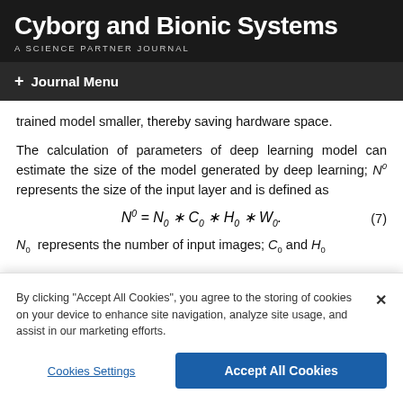Cyborg and Bionic Systems
A SCIENCE PARTNER JOURNAL
+ Journal Menu
trained model smaller, thereby saving hardware space.
The calculation of parameters of deep learning model can estimate the size of the model generated by deep learning; N^0 represents the size of the input layer and is defined as
N_0 represents the number of input images; C_0 and H_0
By clicking "Accept All Cookies", you agree to the storing of cookies on your device to enhance site navigation, analyze site usage, and assist in our marketing efforts.
Cookies Settings | Accept All Cookies